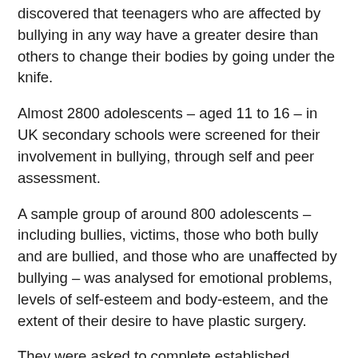discovered that teenagers who are affected by bullying in any way have a greater desire than others to change their bodies by going under the knife.
Almost 2800 adolescents – aged 11 to 16 – in UK secondary schools were screened for their involvement in bullying, through self and peer assessment.
A sample group of around 800 adolescents – including bullies, victims, those who both bully and are bullied, and those who are unaffected by bullying – was analysed for emotional problems, levels of self-esteem and body-esteem, and the extent of their desire to have plastic surgery.
They were asked to complete established questionnaires – such as the Strengths and Difficulties Questionnaire and the Acceptance of Cosmetic Surgery Scale.